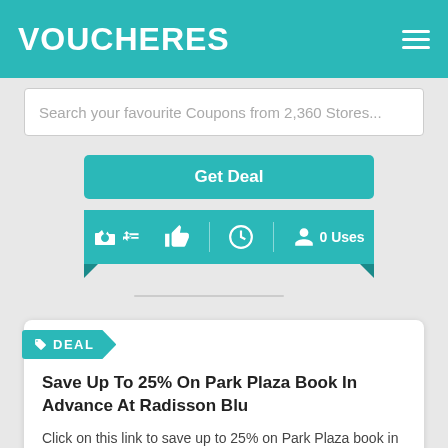VOUCHERES
Search your favourite Coupons from 2,360 Stores...
Get Deal
0 Uses
DEAL
Save Up To 25% On Park Plaza Book In Advance At Radisson Blu
Click on this link to save up to 25% on Park Plaza book in advance at Radisson Blu.
Offer on going
Get Deal